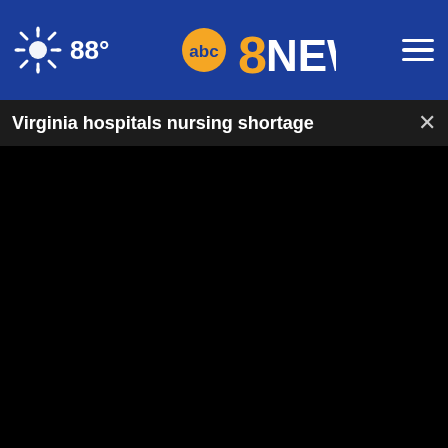88° abc8NEWS
Virginia hospitals nursing shortage
[Figure (screenshot): Black video player frame showing a paused/loading video with progress bar at 0:00, play button, mute button, and fullscreen controls]
[Figure (photo): Partial photo of shoes/feet and a DiscovertheForest.org advertisement banner with Ad Council and US Forest Service logos]